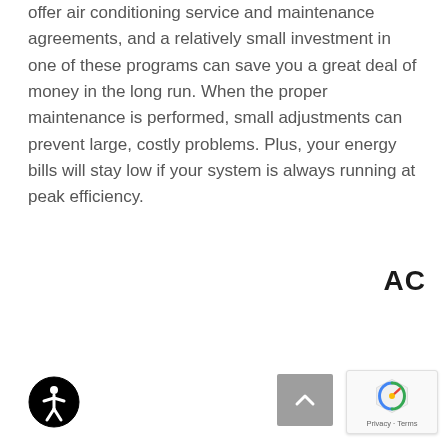offer air conditioning service and maintenance agreements, and a relatively small investment in one of these programs can save you a great deal of money in the long run. When the proper maintenance is performed, small adjustments can prevent large, costly problems. Plus, your energy bills will stay low if your system is always running at peak efficiency.
AC
[Figure (logo): Accessibility icon - a circular badge with a stylized person figure]
[Figure (other): Scroll-to-top button - gray square button with upward chevron arrow]
[Figure (other): Google reCAPTCHA badge with logo and Privacy - Terms text]